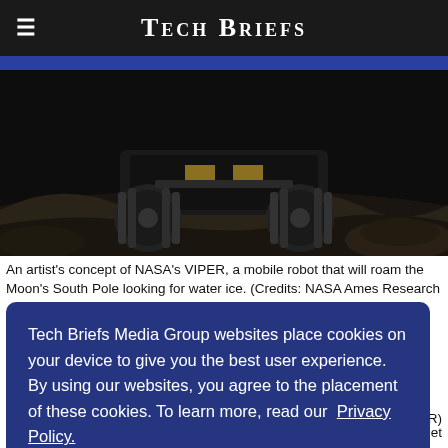Tech Briefs
[Figure (photo): An artist's concept of NASA's VIPER rover on the Moon's surface, showing the rover's wheels and undercarriage close-up on a dark lunar landscape.]
An artist's concept of NASA's VIPER, a mobile robot that will roam the Moon's South Pole looking for water ice. (Credits: NASA Ames Research
Tech Briefs Media Group websites place cookies on your device to give you the best user experience. By using our websites, you agree to the placement of these cookies. To learn more, read our Privacy Policy.
Accept & Continue
VIPER)
n to get
a description of the location and concentration of water ice in the